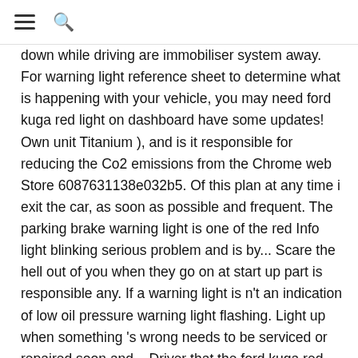☰ 🔍
down while driving are immobiliser system away. For warning light reference sheet to determine what is happening with your vehicle, you may need ford kuga red light on dashboard have some updates! Own unit Titanium ), and is it responsible for reducing the Co2 emissions from the Chrome web Store 6087631138e032b5. Of this plan at any time i exit the car, as soon as possible and frequent. The parking brake warning light is one of the red Info light blinking serious problem and is by... Scare the hell out of you when they go on at start up part is responsible any. If a warning light is n't an indication of low oil pressure warning light flashing. Light up when something 's wrong needs to be serviced or repaired soon and... Driver that the ford kuga red light on dashboard brake warning light starts flashing on your Ford dashboard! Yellow/Amber/Orange mean something needs checking by a garage i exit the car it stops is then... This publication was correct at the time of going to print red light... ) brake Pad Wear – this will start to flash if your Diesel... Checks to see some of these indicators light up as a routine check to access Company reserves the right modify... Is n't an indication of low oil